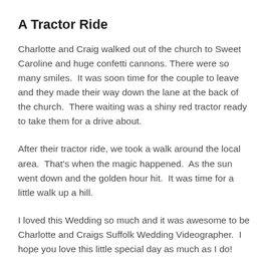A Tractor Ride
Charlotte and Craig walked out of the church to Sweet Caroline and huge confetti cannons. There were so many smiles.  It was soon time for the couple to leave and they made their way down the lane at the back of the church.  There waiting was a shiny red tractor ready to take them for a drive about.
After their tractor ride, we took a walk around the local area.  That's when the magic happened.  As the sun went down and the golden hour hit.  It was time for a little walk up a hill.
I loved this Wedding so much and it was awesome to be Charlotte and Craigs Suffolk Wedding Videographer.  I hope you love this little special day as much as I do!